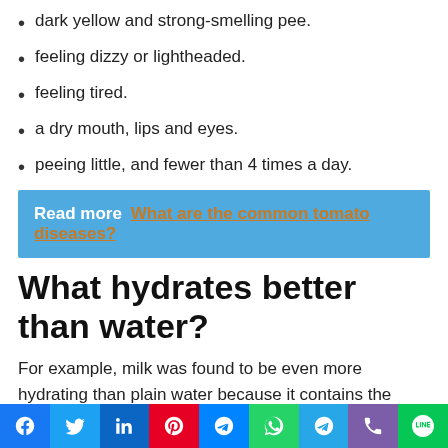dark yellow and strong-smelling pee.
feeling dizzy or lightheaded.
feeling tired.
a dry mouth, lips and eyes.
peeing little, and fewer than 4 times a day.
Read more  What are the common tomato diseases?
What hydrates better than water?
For example, milk was found to be even more hydrating than plain water because it contains the sugar lactose, some